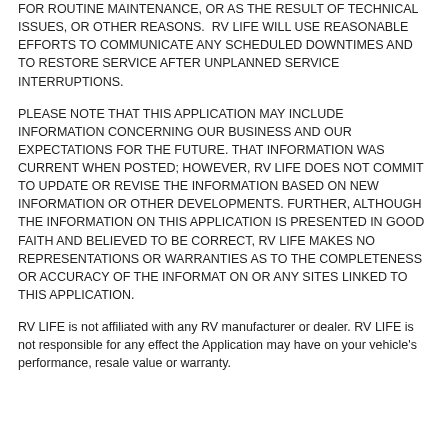FOR ROUTINE MAINTENANCE, OR AS THE RESULT OF TECHNICAL ISSUES, OR OTHER REASONS.  RV LIFE WILL USE REASONABLE EFFORTS TO COMMUNICATE ANY SCHEDULED DOWNTIMES AND TO RESTORE SERVICE AFTER UNPLANNED SERVICE INTERRUPTIONS.
PLEASE NOTE THAT THIS APPLICATION MAY INCLUDE INFORMATION CONCERNING OUR BUSINESS AND OUR EXPECTATIONS FOR THE FUTURE. THAT INFORMATION WAS CURRENT WHEN POSTED; HOWEVER, RV LIFE DOES NOT COMMIT TO UPDATE OR REVISE THE INFORMATION BASED ON NEW INFORMATION OR OTHER DEVELOPMENTS. FURTHER, ALTHOUGH THE INFORMATION ON THIS APPLICATION IS PRESENTED IN GOOD FAITH AND BELIEVED TO BE CORRECT, RV LIFE MAKES NO REPRESENTATIONS OR WARRANTIES AS TO THE COMPLETENESS OR ACCURACY OF THE INFORMAT ON OR ANY SITES LINKED TO THIS APPLICATION.
RV LIFE is not affiliated with any RV manufacturer or dealer. RV LIFE is not responsible for any effect the Application may have on your vehicle's performance, resale value or warranty.